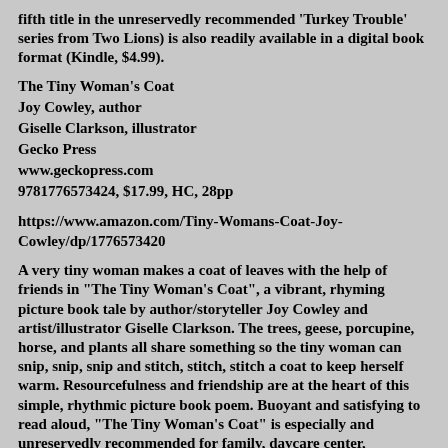fifth title in the unreservedly recommended 'Turkey Trouble' series from Two Lions) is also readily available in a digital book format (Kindle, $4.99).
The Tiny Woman's Coat
Joy Cowley, author
Giselle Clarkson, illustrator
Gecko Press
www.geckopress.com
9781776573424, $17.99, HC, 28pp
https://www.amazon.com/Tiny-Womans-Coat-Joy-Cowley/dp/1776573420
A very tiny woman makes a coat of leaves with the help of friends in "The Tiny Woman's Coat", a vibrant, rhyming picture book tale by author/storyteller Joy Cowley and artist/illustrator Giselle Clarkson. The trees, geese, porcupine, horse, and plants all share something so the tiny woman can snip, snip, snip and stitch, stitch, stitch a coat to keep herself warm. Resourcefulness and friendship are at the heart of this simple, rhythmic picture book poem. Buoyant and satisfying to read aloud, "The Tiny Woman's Coat" is especially and unreservedly recommended for family, daycare center, preschool, elementary school, and community library picture